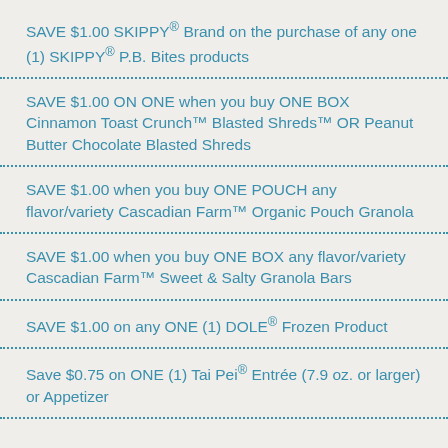SAVE $1.00 SKIPPY® Brand on the purchase of any one (1) SKIPPY® P.B. Bites products
SAVE $1.00 ON ONE when you buy ONE BOX Cinnamon Toast Crunch™ Blasted Shreds™ OR Peanut Butter Chocolate Blasted Shreds
SAVE $1.00 when you buy ONE POUCH any flavor/variety Cascadian Farm™ Organic Pouch Granola
SAVE $1.00 when you buy ONE BOX any flavor/variety Cascadian Farm™ Sweet & Salty Granola Bars
SAVE $1.00 on any ONE (1) DOLE® Frozen Product
Save $0.75 on ONE (1) Tai Pei® Entrée (7.9 oz. or larger) or Appetizer